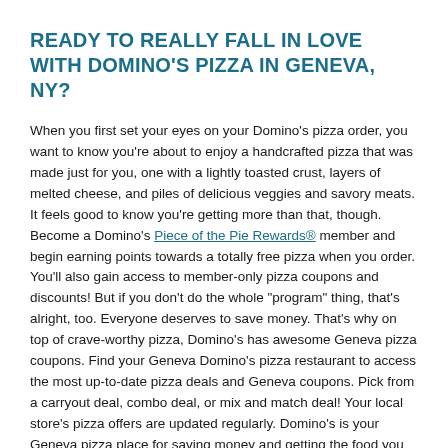READY TO REALLY FALL IN LOVE WITH DOMINO'S PIZZA IN GENEVA, NY?
When you first set your eyes on your Domino's pizza order, you want to know you're about to enjoy a handcrafted pizza that was made just for you, one with a lightly toasted crust, layers of melted cheese, and piles of delicious veggies and savory meats. It feels good to know you're getting more than that, though. Become a Domino's Piece of the Pie Rewards® member and begin earning points towards a totally free pizza when you order. You'll also gain access to member-only pizza coupons and discounts! But if you don't do the whole "program" thing, that's alright, too. Everyone deserves to save money. That's why on top of crave-worthy pizza, Domino's has awesome Geneva pizza coupons. Find your Geneva Domino's pizza restaurant to access the most up-to-date pizza deals and Geneva coupons. Pick from a carryout deal, combo deal, or mix and match deal! Your local store's pizza offers are updated regularly. Domino's is your Geneva pizza place for saving money and getting the food you want, when and how you want it. So, are you ready to calm those